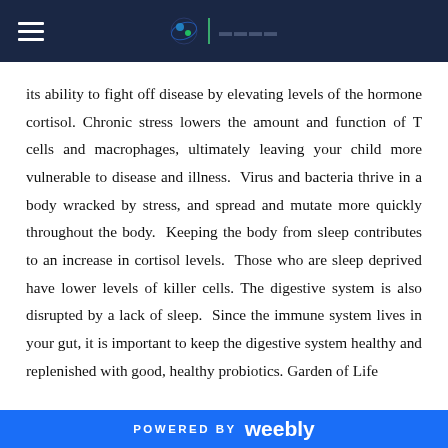[Navigation header with hamburger menu and logo]
its ability to fight off disease by elevating levels of the hormone cortisol. Chronic stress lowers the amount and function of T cells and macrophages, ultimately leaving your child more vulnerable to disease and illness.  Virus and bacteria thrive in a body wracked by stress, and spread and mutate more quickly throughout the body.  Keeping the body from sleep contributes to an increase in cortisol levels.  Those who are sleep deprived have lower levels of killer cells. The digestive system is also disrupted by a lack of sleep.  Since the immune system lives in your gut, it is important to keep the digestive system healthy and replenished with good, healthy probiotics. Garden of Life
POWERED BY weebly